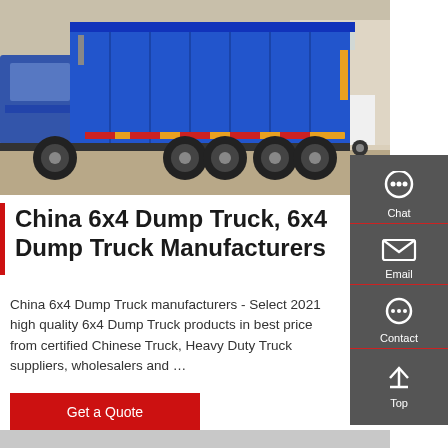[Figure (photo): Blue 6x4 dump truck parked in a yard, rear three-quarter view showing the large blue cargo bed, multiple axles with large tires, and white trucks in the background.]
China 6x4 Dump Truck, 6x4 Dump Truck Manufacturers
China 6x4 Dump Truck manufacturers - Select 2021 high quality 6x4 Dump Truck products in best price from certified Chinese Truck, Heavy Duty Truck suppliers, wholesalers and …
Get a Quote